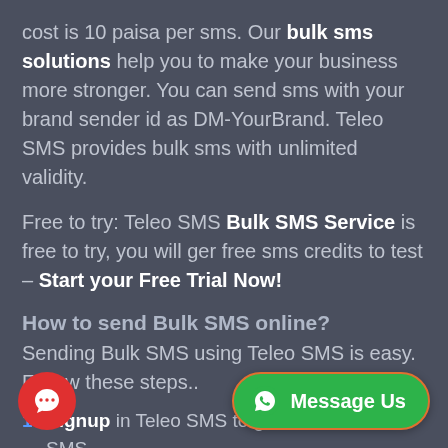cost is 10 paisa per sms. Our bulk sms solutions help you to make your business more stronger. You can send sms with your brand sender id as DM-YourBrand. Teleo SMS provides bulk sms with unlimited validity.
Free to try: Teleo SMS Bulk SMS Service is free to try, you will ger free sms credits to test – Start your Free Trial Now!
How to send Bulk SMS online?
Sending Bulk SMS using Teleo SMS is easy. Follow these steps..
Signup in Teleo SMS to get Bulk SMS free credits.
Try our sms and buy any bulk sms plan, starts from
[Figure (other): Green WhatsApp-style 'Message Us' button with WhatsApp icon]
[Figure (other): Red circular chat bubble button in bottom left corner]